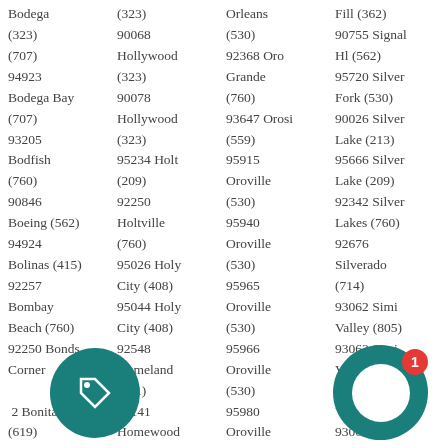Bodega (323) Orleans Fill (362) (707) 90068 (530) 90755 Signal 94923 Hollywood 92368 Oro Hl (562) Bodega Bay (323) Grande 95720 Silver (707) 90078 (760) Fork (530) 93205 Hollywood 93647 Orosi 90026 Silver Bodfish (323) (559) Lake (213) (760) 95234 Holt 95915 95666 Silver 90846 (209) Oroville Lake (209) Boeing (562) 92250 (530) 92342 Silver 94924 Holtville 95940 Lakes (760) Bolinas (415) (760) Oroville 92676 92257 95026 Holy (530) Silverado Bombay City (408) 95965 (714) Beach (760) 95044 Holy Oroville 93062 Simi 92250 Bonds City (408) (530) Valley (805) Corner 92548 95966 93063 Simi (760) Homeland Oroville Valley (805) 92252 Bonita (951) (530) 93064 Simi (619) 96141 95980 Valley (805) 91908 Bonita Homewood Oroville 93065 Simi
[Figure (other): Teal circular icon with a tag/label symbol and a teal chat bubble icon with white circle interior and red badge showing '1']